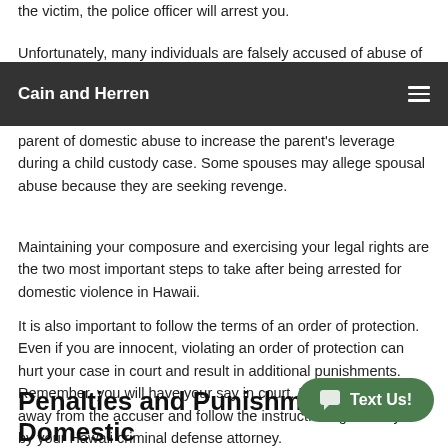the victim, the police officer will arrest you.
Cain and Herren
parent of domestic abuse to increase the parent's leverage during a child custody case. Some spouses may allege spousal abuse because they are seeking revenge.
Maintaining your composure and exercising your legal rights are the two most important steps to take after being arrested for domestic violence in Hawaii.
It is also important to follow the terms of an order of protection. Even if you are innocent, violating an order of protection can hurt your case in court and result in additional punishments. Remember, you will have your say in court. Until then, stay away from the accuser and follow the instructions given to you by your Hawaii criminal defense attorney.
Penalties and Punishments for Domestic